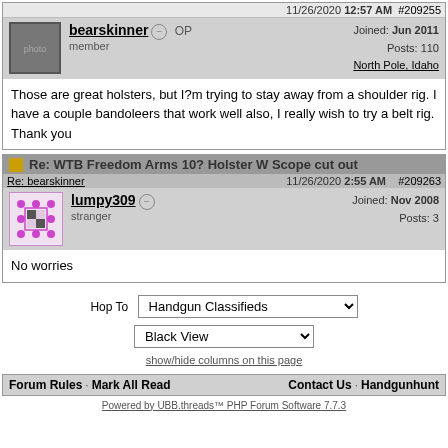11/26/2020 12:57 AM #209255
bearskinner OP
member
Joined: Jun 2011
Posts: 110
North Pole, Idaho
Those are great holsters, but I?m trying to stay away from a shoulder rig. I have a couple bandoleers that work well also, I really wish to try a belt rig. Thank you
Re: WTB Freedom Arms 10? Holster W Scope cut out
Re: bearskinner | 11/26/2020 2:55 AM #209263
lumpy309
stranger
Joined: Nov 2008
Posts: 3
No worries
Hop To  Handgun Classifieds
Black View
show/hide columns on this page
Forum Rules · Mark All Read    Contact Us · Handgunhunt
Powered by UBB.threads™ PHP Forum Software 7.7.3